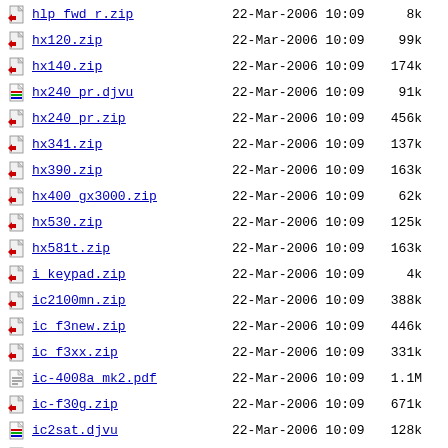hlp_fwd_r.zip  22-Mar-2006 10:09  8k
hx120.zip  22-Mar-2006 10:09  99k
hx140.zip  22-Mar-2006 10:09  174k
hx240_pr.djvu  22-Mar-2006 10:09  91k
hx240_pr.zip  22-Mar-2006 10:09  456k
hx341.zip  22-Mar-2006 10:09  137k
hx390.zip  22-Mar-2006 10:09  163k
hx400_gx3000.zip  22-Mar-2006 10:09  62k
hx530.zip  22-Mar-2006 10:09  125k
hx581t.zip  22-Mar-2006 10:09  163k
i_keypad.zip  22-Mar-2006 10:09  4k
ic2100mn.zip  22-Mar-2006 10:09  388k
ic_f3new.zip  22-Mar-2006 10:09  446k
ic_f3xx.zip  22-Mar-2006 10:09  331k
ic-4008a_mk2.pdf  22-Mar-2006 10:09  1.1M
ic-f30g.zip  22-Mar-2006 10:09  671k
ic2sat.djvu  22-Mar-2006 10:09  128k
icf3f4.zip  22-Mar-2006 10:09  448k